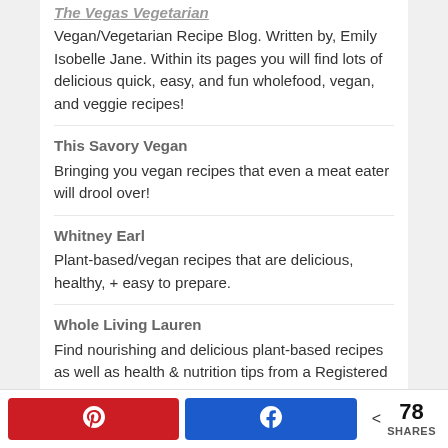The Vegas Vegetarian
Vegan/Vegetarian Recipe Blog. Written by, Emily Isobelle Jane. Within its pages you will find lots of delicious quick, easy, and fun wholefood, vegan, and veggie recipes!
This Savory Vegan
Bringing you vegan recipes that even a meat eater will drool over!
Whitney Earl
Plant-based/vegan recipes that are delicious, healthy, + easy to prepare.
Whole Living Lauren
Find nourishing and delicious plant-based recipes as well as health & nutrition tips from a Registered Dietitian
78 SHARES